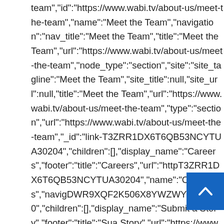team","id":"https://www.wabi.tv/about-us/meet-the-team","name":"Meet the Team","navigation":"nav_title":"Meet the Team","title":"Meet the Team","url":"https://www.wabi.tv/about-us/meet-the-team","node_type":"section","site":"site_tagline":"Meet the Team","site_title":null,"site_url":null,"title":"Meet the Team","url":"https://www.wabi.tv/about-us/meet-the-team","type":"section","url":"https://www.wabi.tv/about-us/meet-the-team","_id":"link-T3ZRR1DX6T6QB53NCYTUA30204","children":[],"display_name":"Careers","footer":"title":"Careers","url":"httpT3ZRR1DX6T6QB53NCYTUA30204","name":"Careers","navigDWR9XQF2K506X8YWZWYU6DE6K0","children":[],"display_name":"Submit a Story","footer":"title":"Sua Story","url":"https://www.wabi.tv/page/submit-a-story","id":"link-
[Figure (other): Blue scroll-to-top button with white upward arrow chevron in bottom-right corner]